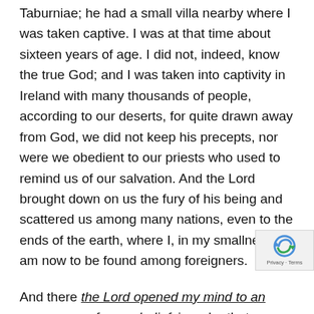Taburniae; he had a small villa nearby where I was taken captive. I was at that time about sixteen years of age. I did not, indeed, know the true God; and I was taken into captivity in Ireland with many thousands of people, according to our deserts, for quite drawn away from God, we did not keep his precepts, nor were we obedient to our priests who used to remind us of our salvation. And the Lord brought down on us the fury of his being and scattered us among many nations, even to the ends of the earth, where I, in my smallness, am now to be found among foreigners.
And there the Lord opened my mind to an awareness of my unbelief, in order that, even so late, I might remember my transgressions and turn with all my